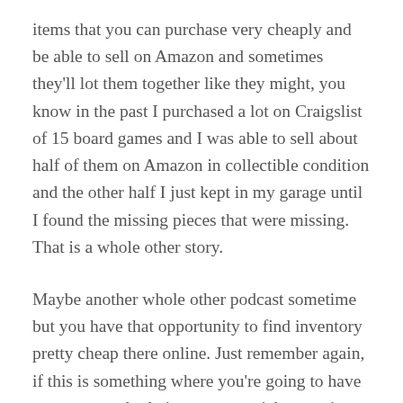items that you can purchase very cheaply and be able to sell on Amazon and sometimes they'll lot them together like they might, you know in the past I purchased a lot on Craigslist of 15 board games and I was able to sell about half of them on Amazon in collectible condition and the other half I just kept in my garage until I found the missing pieces that were missing. That is a whole other story.
Maybe another whole other podcast sometime but you have that opportunity to find inventory pretty cheap there online. Just remember again, if this is something where you're going to have to meet somebody in person to pick up an item, meet them in a public place, bring a friend with you maybe or have a friend on the phone with you, meet in a place that is well lit if that's one of those who do that.